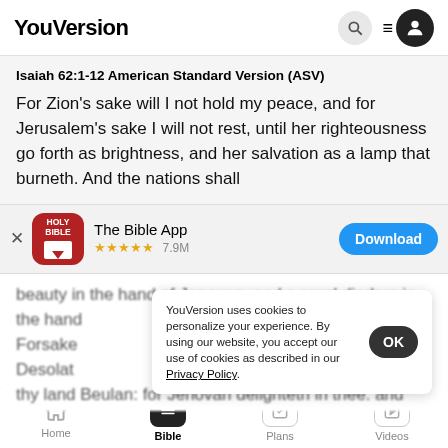YouVersion
Isaiah 62:1-12 American Standard Version (ASV)
For Zion's sake will I not hold my peace, and for Jerusalem's sake I will not rest, until her righteousness go forth as brightness, and her salvation as a lamp that burneth. And the nations shall
[Figure (screenshot): The Bible App download banner with Holy Bible icon, star rating 7.9M, and Download button]
beauty in the hand of Jenovan. and a royal diadem in the hand Forsaken Desolate thy land Beulan: for Jenovan delighteth in thee. and
YouVersion uses cookies to personalize your experience. By using our website, you accept our use of cookies as described in our Privacy Policy.
Home   Bible   Plans   Videos